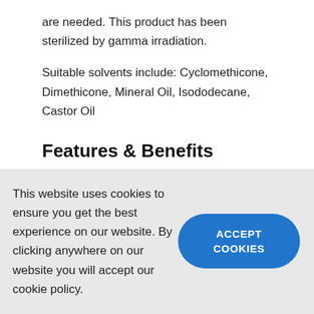are needed. This product has been sterilized by gamma irradiation.
Suitable solvents include: Cyclomethicone, Dimethicone, Mineral Oil, Isododecane, Castor Oil
Features & Benefits
High efficiency
This website uses cookies to ensure you get the best experience on our website. By clicking anywhere on our website you will accept our cookie policy.